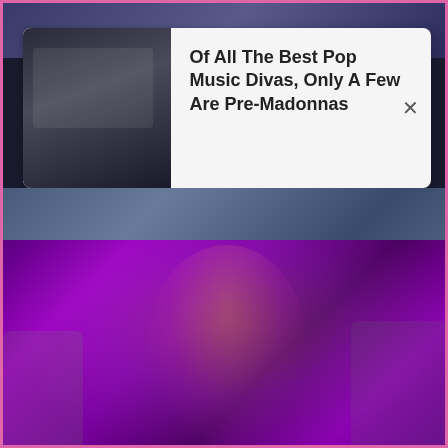[Figure (photo): Top partial photo strip - blurred background image]
[Figure (photo): Advertisement card 1 with thumbnail of a woman in a car and headline text]
Of All The Best Pop Music Divas, Only A Few Are Pre-Madonnas
[Figure (photo): Middle photo strip background, partially overlaid by ad card 2]
Missiles Hit Major Ukrainian Malls, See Images
[Figure (photo): Advertisement card 2 with thumbnail of a man smiling and headline text]
You'll Get Jealous Of These Women That Milo Has Gone Out With
BRAINBERRIES
[Figure (photo): Concert performance photo of a female performer in colorful outfit dancing on stage with purple lighting and backup dancers]